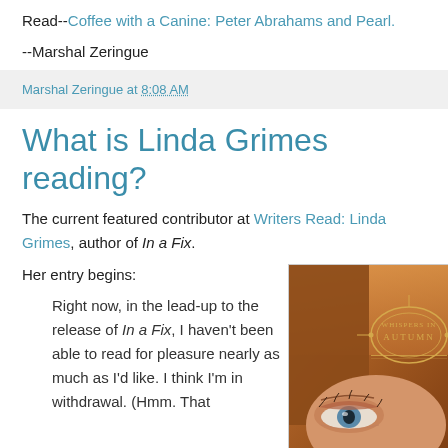Read--Coffee with a Canine: Peter Abrahams and Pearl.
--Marshal Zeringue
Marshal Zeringue at 8:08 AM
What is Linda Grimes reading?
The current featured contributor at Writers Read: Linda Grimes, author of In a Fix.
Her entry begins:
Right now, in the lead-up to the release of In a Fix, I haven't been able to read for pleasure nearly as much as I'd like. I think I'm in withdrawal. (Hmm. That
[Figure (photo): Book cover for 'Whispers in Autumn' showing a woman's eye and autumn-toned decorative design with gold text.]